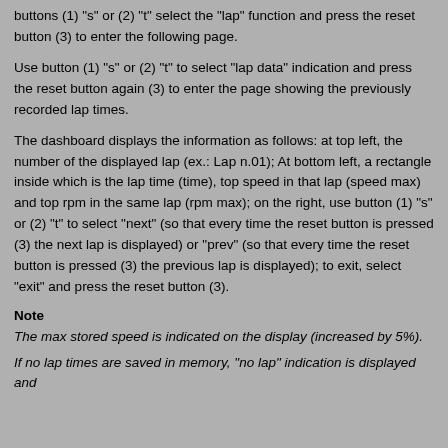buttons (1) "s" or (2) "t" select the "lap" function and press the reset button (3) to enter the following page.
Use button (1) "s" or (2) "t" to select "lap data" indication and press the reset button again (3) to enter the page showing the previously recorded lap times.
The dashboard displays the information as follows: at top left, the number of the displayed lap (ex.: Lap n.01); At bottom left, a rectangle inside which is the lap time (time), top speed in that lap (speed max) and top rpm in the same lap (rpm max); on the right, use button (1) "s" or (2) "t" to select "next" (so that every time the reset button is pressed (3) the next lap is displayed) or "prev" (so that every time the reset button is pressed (3) the previous lap is displayed); to exit, select "exit" and press the reset button (3).
Note
The max stored speed is indicated on the display (increased by 5%).
If no lap times are saved in memory, "no lap" indication is displayed and